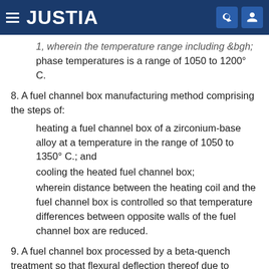JUSTIA
1, wherein the temperature range including &bgh; phase temperatures is a range of 1050 to 1200° C.
8. A fuel channel box manufacturing method comprising the steps of:
heating a fuel channel box of a zirconium-base alloy at a temperature in the range of 1050 to 1350° C.; and
cooling the heated fuel channel box;
wherein distance between the heating coil and the fuel channel box is controlled so that temperature differences between opposite walls of the fuel channel box are reduced.
9. A fuel channel box processed by a beta-quench treatment so that flexural deflection thereof due to exposure to neutron irradiation is 1.8 mm or below at a